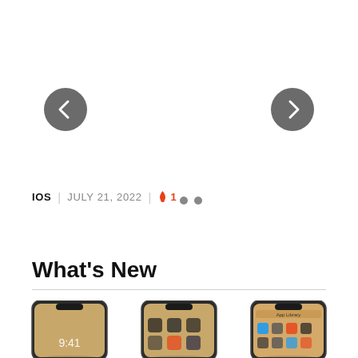[Figure (screenshot): Left navigation arrow button (dark gray circle with left chevron)]
[Figure (screenshot): Right navigation arrow button (dark gray circle with right chevron)]
IOS | JULY 21, 2022 | 🔥 1
[Figure (infographic): Two dot pagination indicators (gray dots)]
What's New
[Figure (screenshot): Three iPhone mockup screenshots showing iOS lock screen and home screen views]